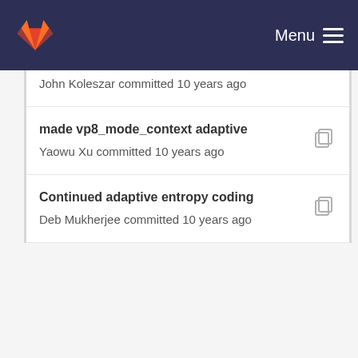Menu
John Koleszar committed 10 years ago
made vp8_mode_context adaptive
Yaowu Xu committed 10 years ago
Continued adaptive entropy coding
Deb Mukherjee committed 10 years ago